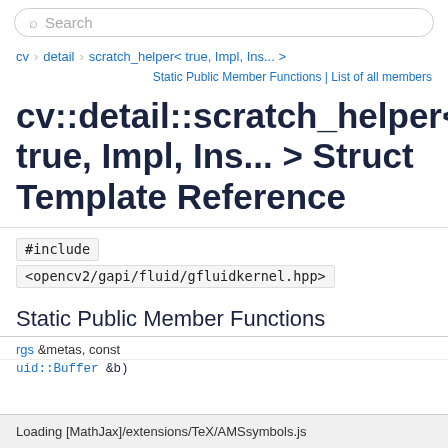Search
cv > detail > scratch_helper< true, Impl, Ins... >
Static Public Member Functions | List of all members
cv::detail::scratch_helper< true, Impl, Ins... > Struct Template Reference
#include <opencv2/gapi/fluid/gfluidkernel.hpp>
Static Public Member Functions
rgs &metas, const
uid::Buffer &b)
Loading [MathJax]/extensions/TeX/AMSsymbols.js